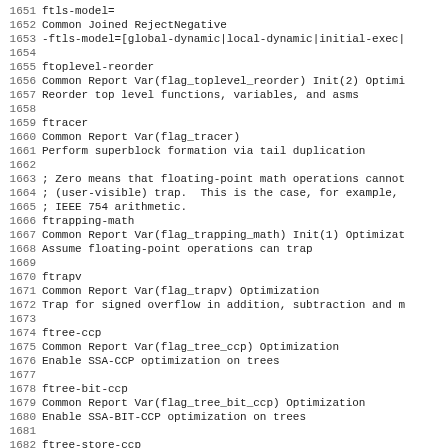1651 ftls-model=
1652 Common Joined RejectNegative
1653 -ftls-model=[global-dynamic|local-dynamic|initial-exec|
1654 
1655 ftoplevel-reorder
1656 Common Report Var(flag_toplevel_reorder) Init(2) Optimi
1657 Reorder top level functions, variables, and asms
1658 
1659 ftracer
1660 Common Report Var(flag_tracer)
1661 Perform superblock formation via tail duplication
1662 
1663 ; Zero means that floating-point math operations cannot
1664 ; (user-visible) trap.  This is the case, for example,
1665 ; IEEE 754 arithmetic.
1666 ftrapping-math
1667 Common Report Var(flag_trapping_math) Init(1) Optimizat
1668 Assume floating-point operations can trap
1669 
1670 ftrapv
1671 Common Report Var(flag_trapv) Optimization
1672 Trap for signed overflow in addition, subtraction and m
1673 
1674 ftree-ccp
1675 Common Report Var(flag_tree_ccp) Optimization
1676 Enable SSA-CCP optimization on trees
1677 
1678 ftree-bit-ccp
1679 Common Report Var(flag_tree_bit_ccp) Optimization
1680 Enable SSA-BIT-CCP optimization on trees
1681 
1682 ftree-store-ccp